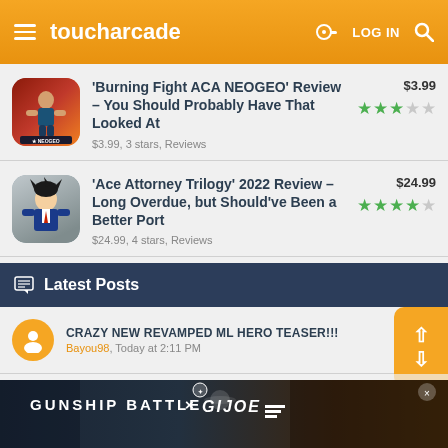toucharcade — LOG IN
'Burning Fight ACA NEOGEO' Review – You Should Probably Have That Looked At | $3.99, 3 stars, Reviews | $3.99
'Ace Attorney Trilogy' 2022 Review – Long Overdue, but Should've Been a Better Port | $24.99, 4 stars, Reviews | $24.99
Latest Posts
CRAZY NEW REVAMPED ML HERO TEASER!!! — Bayou98, Today at 2:11 PM
Pistol Shooting simulator
[Figure (screenshot): Advertisement banner for Gunship Battle x G.I. Joe game]